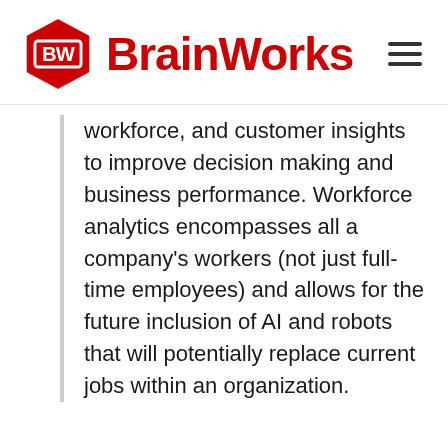BrainWorks
workforce, and customer insights to improve decision making and business performance. Workforce analytics encompasses all a company's workers (not just full-time employees) and allows for the future inclusion of AI and robots that will potentially replace current jobs within an organization.